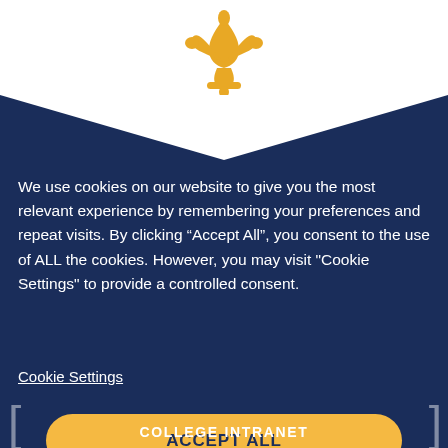[Figure (logo): Gold fleur-de-lis symbol on white background]
We use cookies on our website to give you the most relevant experience by remembering your preferences and repeat visits. By clicking “Accept All”, you consent to the use of ALL the cookies. However, you may visit "Cookie Settings" to provide a controlled consent.
Cookie Settings
ACCEPT ALL
COLLEGE INTRANET